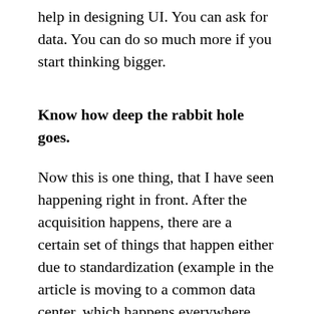help in designing UI. You can ask for data. You can do so much more if you start thinking bigger.
Know how deep the rabbit hole goes.
Now this is one thing, that I have seen happening right in front. After the acquisition happens, there are a certain set of things that happen either due to standardization (example in the article is moving to a common data center, which happens everywhere now), or something that resulted from you thinking bigger. Some things might seem easier when doing it on a larger scale, but along with, comes